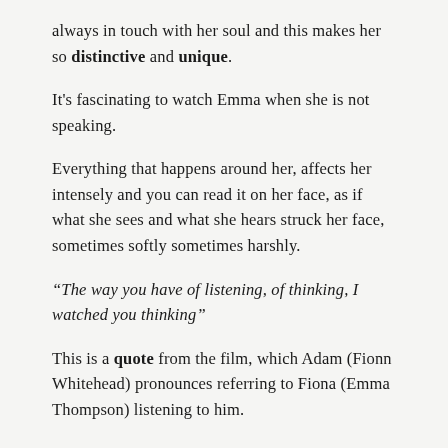always in touch with her soul and this makes her so distinctive and unique.
It's fascinating to watch Emma when she is not speaking.
Everything that happens around her, affects her intensely and you can read it on her face, as if what she sees and what she hears struck her face, sometimes softly sometimes harshly.
“The way you have of listening, of thinking, I watched you thinking”
This is a quote from the film, which Adam (Fionn Whitehead) pronounces referring to Fiona (Emma Thompson) listening to him.